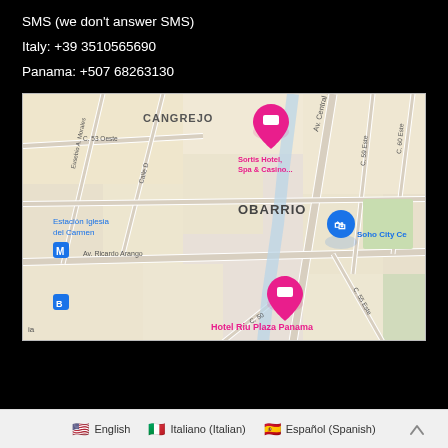SMS (we don't answer SMS)
Italy: +39 3510565690
Panama: +507 68263130
[Figure (map): Google Maps screenshot showing Obarrio neighborhood in Panama City, with Hotel Riu Plaza Panama marked in pink at center-bottom, Sortis Hotel Spa & Casino marked in pink at top-center, Soho City Center marked in blue at center-right, and Estacion Iglesia del Carmen metro station marked in blue at center-left. Streets include Av. Central España, Av. Ricardo Arango, C. 53 Oeste, C. 55 Este, C. 59 Este, C. 60 Este, Calle D, and others.]
English   Italiano (Italian)   Español (Spanish)